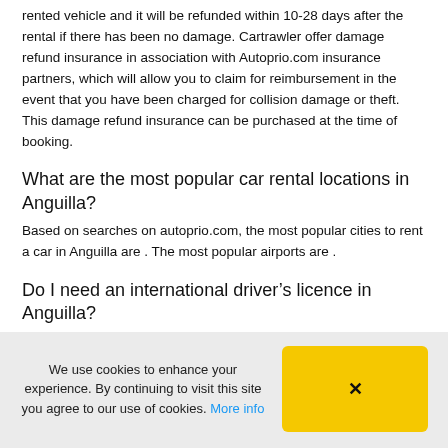rented vehicle and it will be refunded within 10-28 days after the rental if there has been no damage. Cartrawler offer damage refund insurance in association with Autoprio.com insurance partners, which will allow you to claim for reimbursement in the event that you have been charged for collision damage or theft. This damage refund insurance can be purchased at the time of booking.
What are the most popular car rental locations in Anguilla?
Based on searches on autoprio.com, the most popular cities to rent a car in Anguilla are . The most popular airports are .
Do I need an international driver’s licence in Anguilla?
If your licence is not printed in the Roman alphabet (i.e. Arabic, Greek, Russian or Chinese) you will need to bring an international driving licence and your domestic licence in Anguilla. If you are renting abroad (outside your country of residence, or outside where
We use cookies to enhance your experience. By continuing to visit this site you agree to our use of cookies. More info